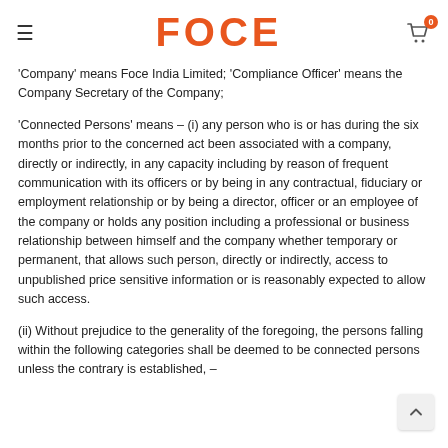FOCE
'Company' means Foce India Limited; 'Compliance Officer' means the Company Secretary of the Company;
'Connected Persons' means – (i) any person who is or has during the six months prior to the concerned act been associated with a company, directly or indirectly, in any capacity including by reason of frequent communication with its officers or by being in any contractual, fiduciary or employment relationship or by being a director, officer or an employee of the company or holds any position including a professional or business relationship between himself and the company whether temporary or permanent, that allows such person, directly or indirectly, access to unpublished price sensitive information or is reasonably expected to allow such access.
(ii) Without prejudice to the generality of the foregoing, the persons falling within the following categories shall be deemed to be connected persons unless the contrary is established, –